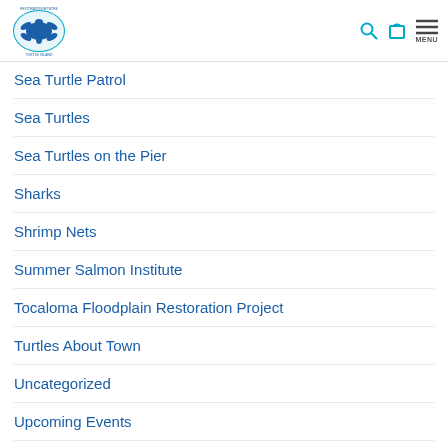Turtle Island Restoration Network — navigation header with logo, search, cart, and menu icons
Sea Turtle Patrol
Sea Turtles
Sea Turtles on the Pier
Sharks
Shrimp Nets
Summer Salmon Institute
Tocaloma Floodplain Restoration Project
Turtles About Town
Uncategorized
Upcoming Events
Vaquita